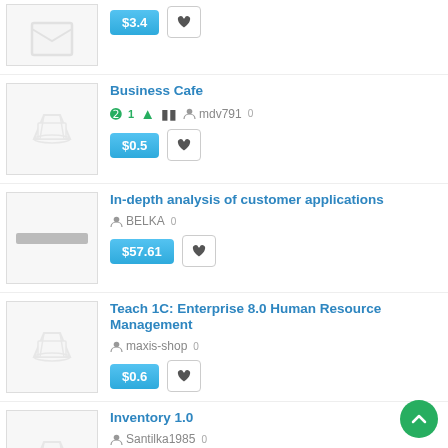[Figure (screenshot): Top listing partial: price button showing $3.4 and heart button]
Business Cafe — mdv791 0 — $0.5
In-depth analysis of customer applications — BELKA 0 — $57.61
Teach 1C: Enterprise 8.0 Human Resource Management — maxis-shop 0 — $0.6
Inventory 1.0 — Santilka1985 0 — $0.82